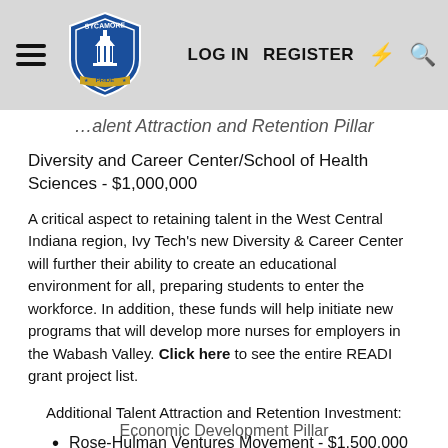Sycamore Pride — LOG IN  REGISTER
…alent Attraction and Retention Pillar
Diversity and Career Center/School of Health Sciences - $1,000,000
A critical aspect to retaining talent in the West Central Indiana region, Ivy Tech's new Diversity & Career Center will further their ability to create an educational environment for all, preparing students to enter the workforce. In addition, these funds will help initiate new programs that will develop more nurses for employers in the Wabash Valley. Click here to see the entire READI grant project list.
Additional Talent Attraction and Retention Investment:
Rose-Hulman Ventures Movement - $1,500,000
Economic Development Pillar